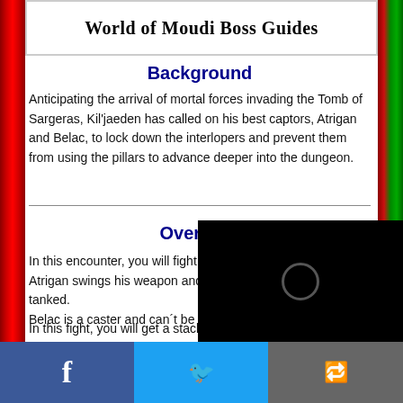World of Moudi Boss Guides
Background
Anticipating the arrival of mortal forces invading the Tomb of Sargeras, Kil'jaeden has called on his best captors, Atrigan and Belac, to lock down the interlopers and prevent them from using the pillars to advance deeper into the dungeon.
Overview
In this encounter, you will fight 2 bosses, Atrigan and Belac. Atrigan swings his weapon and does melee dmg, and can be tanked. Belac is a caster and can´t be tanked.
In this fight, you will get a stacking debuff called Torment. Reaching full Torment is not good (it redu